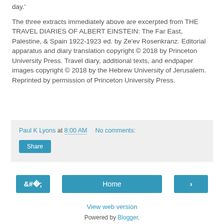day.'
The three extracts immediately above are excerpted from THE TRAVEL DIARIES OF ALBERT EINSTEIN: The Far East, Palestine, & Spain 1922-1923 ed. by Ze'ev Rosenkranz. Editorial apparatus and diary translation copyright © 2018 by Princeton University Press. Travel diary, additional texts, and endpaper images copyright © 2018 by the Hebrew University of Jerusalem. Reprinted by permission of Princeton University Press.
Paul K Lyons at 8:00 AM   No comments:
Share
‹
Home
›
View web version
Powered by Blogger.